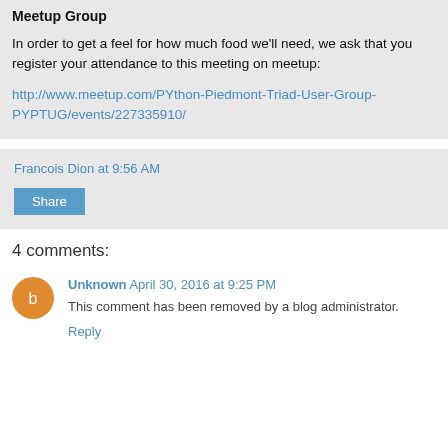Meetup Group
In order to get a feel for how much food we'll need, we ask that you register your attendance to this meeting on meetup:
http://www.meetup.com/PYthon-Piedmont-Triad-User-Group-PYPTUG/events/227335910/
Francois Dion at 9:56 AM
Share
4 comments:
Unknown April 30, 2016 at 9:25 PM
This comment has been removed by a blog administrator.
Reply